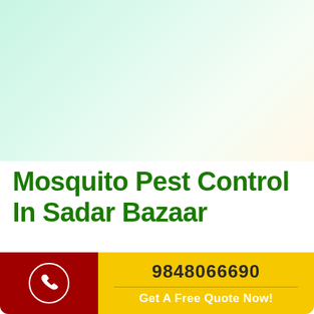[Figure (illustration): Mint green gradient background decorative hero area at the top of the page]
Mosquito Pest Control In Sadar Bazaar
Mosquitoes are small, but they can make your life miserable. They can transmit diseases like malaria,
9848066690
Get A Free Quote Now!